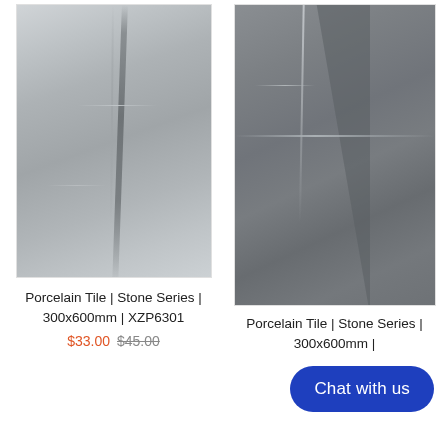[Figure (photo): Light grey porcelain tile with stone-like texture and subtle crack/vein patterns]
Porcelain Tile | Stone Series | 300x600mm | XZP6301
$33.00 $45.00
[Figure (photo): Dark grey porcelain tile with stone-like texture and prominent diagonal crack/slab feature]
Porcelain Tile | Stone Series | 300x600mm |
Chat with us